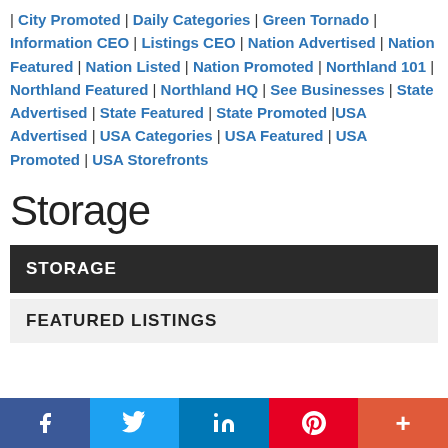| City Promoted | Daily Categories | Green Tornado | Information CEO | Listings CEO | Nation Advertised | Nation Featured | Nation Listed | Nation Promoted | Northland 101 | Northland Featured | Northland HQ | See Businesses | State Advertised | State Featured | State Promoted |USA Advertised | USA Categories | USA Featured | USA Promoted | USA Storefronts
Storage
STORAGE
FEATURED LISTINGS
f  (twitter bird)  in  (pinterest)  +